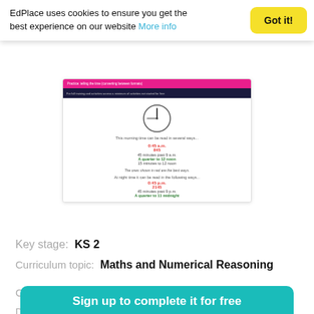EdPlace uses cookies to ensure you get the best experience on our website More info
Got it!
[Figure (screenshot): Screenshot of an EdPlace educational worksheet about telling time, showing a clock face and multiple ways to express the same time (0:45 a.m., 845, 45 minutes past 9 a.m., A quarter to 12 noon, 15 minutes to 12 noon) with red and green highlighted text indicating correct answers.]
Key stage:  KS 2
Curriculum topic:  Maths and Numerical Reasoning
Curriculum subtopic:  Time and Timetables
Difficulty level:
Sign up to complete it for free